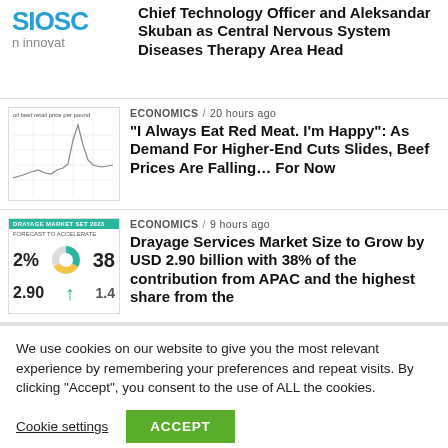[Figure (logo): Partial logo showing 'BIOSC' in blue and 'n innovat' in gray below]
Chief Technology Officer and Aleksandar Skuban as Central Nervous System Diseases Therapy Area Head
[Figure (line-chart): Thumbnail line chart showing beef retail price per pound over time with a spike]
ECONOMICS / 20 hours ago
“I Always Eat Red Meat. I’m Happy”: As Demand For Higher-End Cuts Slides, Beef Prices Are Falling… For Now
[Figure (infographic): Drayage Services Market report thumbnail showing 2%, 38, 2.90, 1.4 statistics with teal header and pie chart]
ECONOMICS / 9 hours ago
Drayage Services Market Size to Grow by USD 2.90 billion with 38% of the contribution from APAC and the highest share from the
We use cookies on our website to give you the most relevant experience by remembering your preferences and repeat visits. By clicking “Accept”, you consent to the use of ALL the cookies.
Cookie settings
ACCEPT